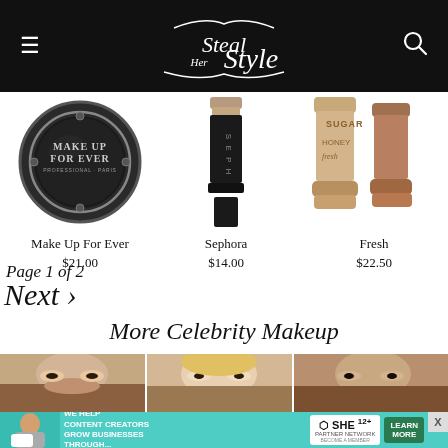Steal Her Style
[Figure (photo): Make Up For Ever eyeshadow compact, black circular pan]
Make Up For Ever
$21.00
[Figure (photo): Sephora lip color stick, nude shade, black tube]
Sephora
$14.00
[Figure (photo): Fresh Sugar Honey lip balm sticks, two gold tubes]
Fresh
$22.50
Page 1 of 2
Next ›
More Celebrity Makeup
[Figure (photo): Three celebrity close-up face thumbnails]
[Figure (infographic): Advertisement: We help content creators grow businesses through... SHE Partner Network. Learn More.]